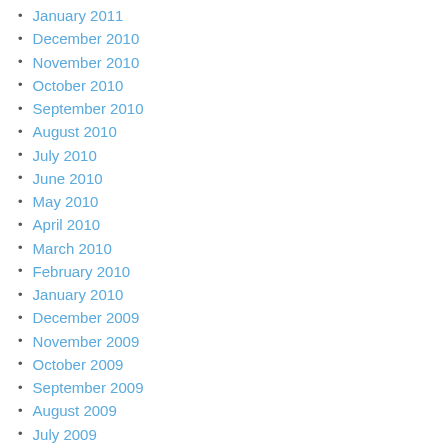January 2011
December 2010
November 2010
October 2010
September 2010
August 2010
July 2010
June 2010
May 2010
April 2010
March 2010
February 2010
January 2010
December 2009
November 2009
October 2009
September 2009
August 2009
July 2009
June 2009
May 2009